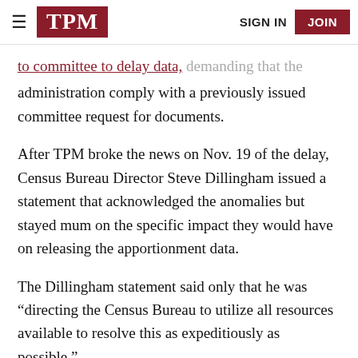TPM | SIGN IN | JOIN
to committee to delay data, demanding that the administration comply with a previously issued committee request for documents.
After TPM broke the news on Nov. 19 of the delay, Census Bureau Director Steve Dillingham issued a statement that acknowledged the anomalies but stayed mum on the specific impact they would have on releasing the apportionment data.
The Dillingham statement said only that he was “directing the Census Bureau to utilize all resources available to resolve this as expeditiously as possible.”